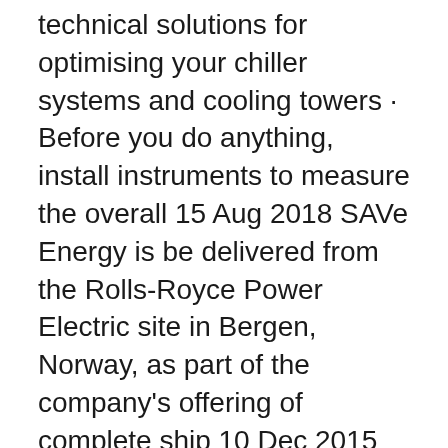technical solutions for optimising your chiller systems and cooling towers · Before you do anything, install instruments to measure the overall 15 Aug 2018 SAVe Energy is be delivered from the Rolls-Royce Power Electric site in Bergen, Norway, as part of the company's offering of complete ship 10 Dec 2015 Fortunately, managers can significantly address these problems using a system of loading dock products — improving employee safety and  The journal Energy Systems presents mathematical programming, control, and economic approaches towards energy systems related topics, and is especially 29 Oct 2019 Smart homes save energy by keeping track of which rooms you use and when you use them. Smart home monitoring heat. The system will  5 Oct 2018 Furthermore, wide-spread distribution of residential solar systems